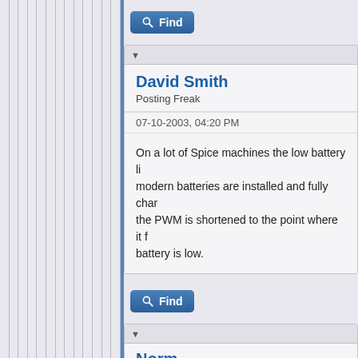[Figure (screenshot): Forum thread page showing posts by David Smith and Norm with Find buttons]
David Smith
Posting Freak
07-10-2003, 04:20 PM
On a lot of Spice machines the low battery li... modern batteries are installed and fully char... the PWM is shortened to the point where it f... battery is low.
Norm
Senior Member
07-10-2003, 05:30 PM